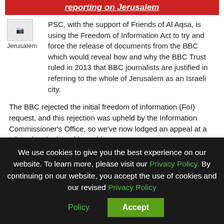reporting on Jerusalem
[Figure (photo): Broken/placeholder image thumbnail labeled 'Jerusalem']
PSC, with the support of Friends of Al Aqsa, is using the Freedom of Information Act to try and force the release of documents from the BBC which would reveal how and why the BBC Trust ruled in 2013 that BBC journalists are justified in referring to the whole of Jerusalem as an Israeli city.
The BBC rejected the initial freedom of information (FoI) request, and this rejection was upheld by the Information Commissioner's Office, so we've now lodged an appeal at a tribunal, to be heard later this year.
Read more>
PSC has sent this media release to national and international media.
We use cookies to give you the best experience on our website. To learn more, please visit our Privacy Policy. By continuing on our website, you accept the use of cookies and our revised Privacy Policy
Accept